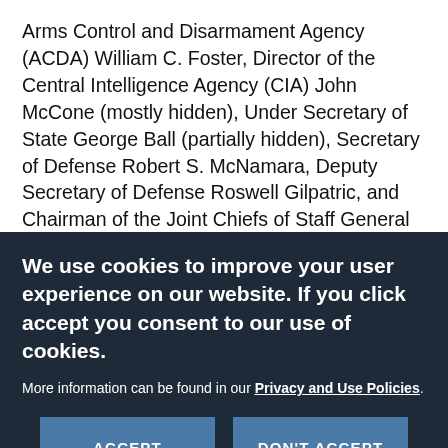Arms Control and Disarmament Agency (ACDA) William C. Foster, Director of the Central Intelligence Agency (CIA) John McCone (mostly hidden), Under Secretary of State George Ball (partially hidden), Secretary of Defense Robert S. McNamara, Deputy Secretary of Defense Roswell Gilpatric, and Chairman of the Joint Chiefs of Staff General Maxwell D. Taylor. Attorney General Robert F. Kennedy stands at far left; President Kennedy (looking down, with hands on table) and Secretary of State Dean
We use cookies to improve your user experience on our website. If you click accept you consent to our use of cookies.
More information can be found in our Privacy and Use Policies.
ACCEPT
DON'T ACCEPT